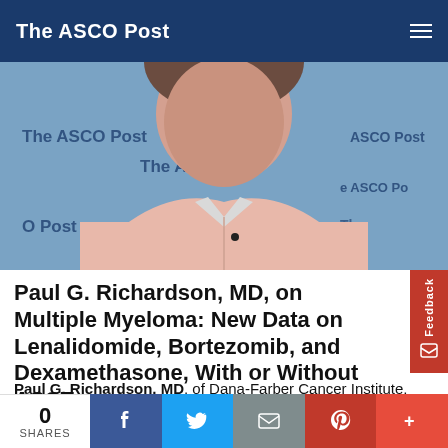The ASCO Post
[Figure (photo): Video still of Paul G. Richardson, MD, seated in front of The ASCO Post branded backdrop, wearing a light pink shirt with a lapel microphone.]
Paul G. Richardson, MD, on Multiple Myeloma: New Data on Lenalidomide, Bortezomib, and Dexamethasone, With or Without ASCT
Paul G. Richardson, MD, of Dana-Farber Cancer Institute, discusses phase III findings from the DETERMINATION trial, which showed that, for patients with newly diagnosed multiple myeloma, lenalidomide, bortezomib, and dexamethasone (RVd) with or without autologous stem cell